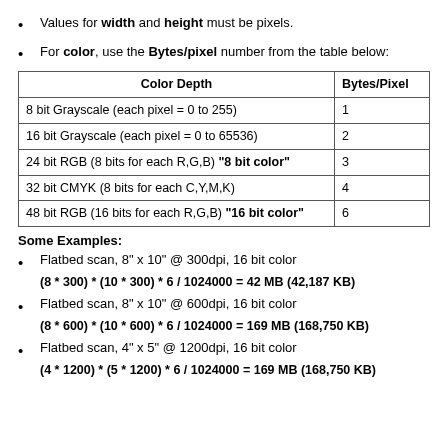Values for width and height must be pixels.
For color, use the Bytes/pixel number from the table below:
| Color Depth | Bytes/Pixel |
| --- | --- |
| 8 bit Grayscale (each pixel = 0 to 255) | 1 |
| 16 bit Grayscale (each pixel = 0 to 65536) | 2 |
| 24 bit RGB (8 bits for each R,G,B) "8 bit color" | 3 |
| 32 bit CMYK (8 bits for each C,Y,M,K) | 4 |
| 48 bit RGB (16 bits for each R,G,B) "16 bit color" | 6 |
Some Examples:
Flatbed scan, 8" x 10" @ 300dpi, 16 bit color
(8 * 300) * (10 * 300) * 6 / 1024000 = 42 MB (42,187 KB)
Flatbed scan, 8" x 10" @ 600dpi, 16 bit color
(8 * 600) * (10 * 600) * 6 / 1024000 = 169 MB (168,750 KB)
Flatbed scan, 4" x 5" @ 1200dpi, 16 bit color
(4 * 1200) * (5 * 1200) * 6 / 1024000 = 169 MB (168,750 KB)